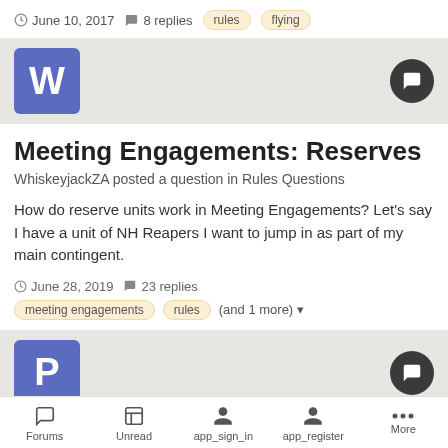June 10, 2017  8 replies  rules  flying
Meeting Engagements: Reserves
WhiskeyjackZA posted a question in Rules Questions
How do reserve units work in Meeting Engagements? Let's say I have a unit of NH Reapers I want to jump in as part of my main contingent.
June 28, 2019  23 replies  meeting engagements  rules  (and 1 more)
cloak of shadows
Plushkies posted a topic in Underworlds
Forums  Unread  app_sign_in  app_register  More